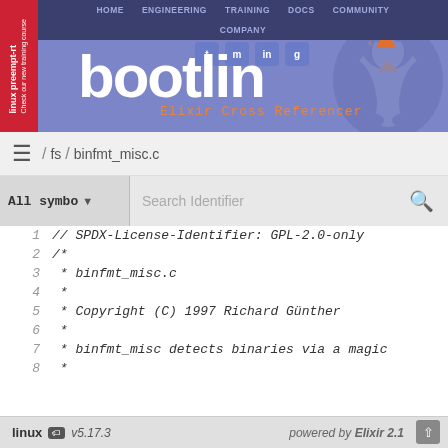[Figure (screenshot): Bootlin website header with navigation bar, logo, social media icons, penguin mascot, and Elixir Cross Referencer subtitle]
HOME  ENGINEERING  TRAINING  DOCS  COMMUNITY  COMPANY
/ fs / binfmt_misc.c
All symbo ▾  Search Identifier
1    // SPDX-License-Identifier: GPL-2.0-only
2    /*
3       * binfmt_misc.c
4       *
5       * Copyright (C) 1997 Richard Günther
6       *
7       * binfmt_misc detects binaries via a magic
8       *
linux  v5.17.3   powered by Elixir 2.1